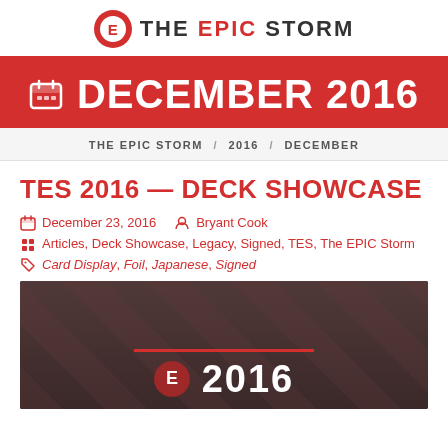THE EPIC STORM
DECEMBER 2016
THE EPIC STORM / 2016 / DECEMBER
TES 2016 — DECK SHOWCASE
December 23, 2016   Bryant Cook
Articles, Deck Showcase, Legacy, Signed, TES, The EPIC Storm
Card Display, Foil, Japanese, Signed
[Figure (photo): Dark blurred card display image with 2016 text overlay and red line]